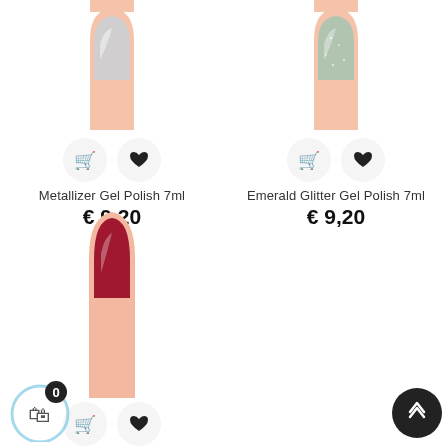[Figure (photo): Top portion of a fingernail with nail polish (metallic) on white background - product image for Metallizer Gel Polish]
[Figure (photo): Top portion of a fingernail with nail polish (emerald glitter) on white background - product image for Emerald Glitter Gel Polish]
Metallizer Gel Polish 7ml
€ 9,20
Emerald Glitter Gel Polish 7ml
€ 9,20
[Figure (photo): Fingernail with deep red/crimson gel polish, partially visible product image at bottom of page]